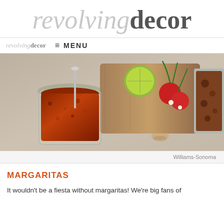revolvingdecor
revolving decor  ≡ MENU
[Figure (photo): Food photography showing a jar of salsa with a spoon, lime wedges, fresh radishes with greens on a wooden cutting board, and a baking dish with stewed meat, all on a light stone surface.]
Williams-Sonoma
MARGARITAS
It wouldn't be a fiesta without margaritas!  We're big fans of